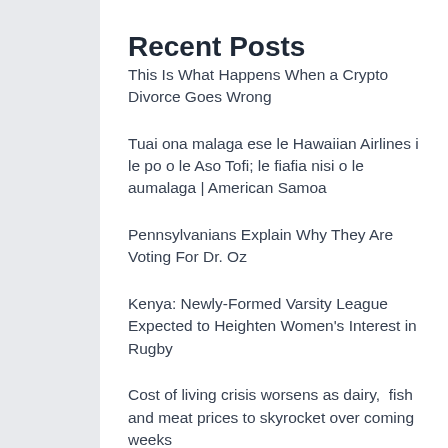Recent Posts
This Is What Happens When a Crypto Divorce Goes Wrong
Tuai ona malaga ese le Hawaiian Airlines i le po o le Aso Tofi; le fiafia nisi o le aumalaga | American Samoa
Pennsylvanians Explain Why They Are Voting For Dr. Oz
Kenya: Newly-Formed Varsity League Expected to Heighten Women's Interest in Rugby
Cost of living crisis worsens as dairy, fish and meat prices to skyrocket over coming weeks